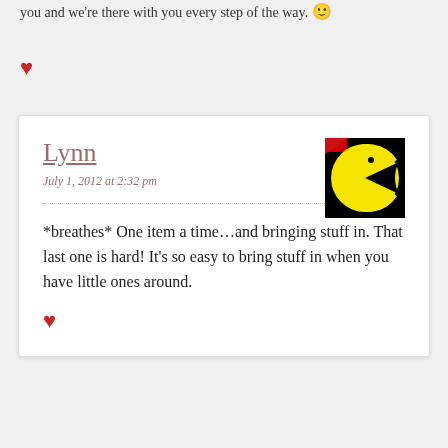you and we're there with you every step of the way. 🙂
♥
Lynn
July 1, 2012 at 2:32 pm
[Figure (illustration): Pac-Man avatar icon: yellow pac-man character on black background with red detail]
*breathes* One item a time…and bringing stuff in. That last one is hard! It's so easy to bring stuff in when you have little ones around.
♥